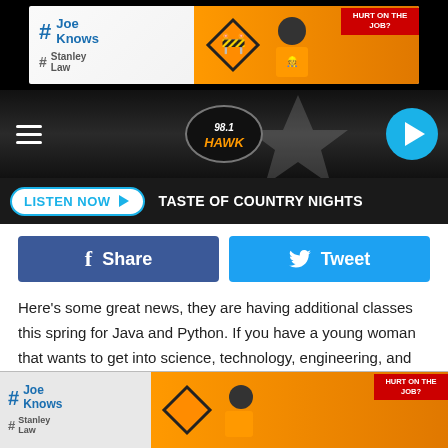[Figure (screenshot): Top advertisement banner for Joe Knows / Stanley Law - 'Hurt on the Job?' with construction worker imagery on orange background]
[Figure (screenshot): Radio station header bar with hamburger menu, 98.1 Hawk radio logo, and blue circular play button]
[Figure (screenshot): Listen Now button bar with text 'TASTE OF COUNTRY NIGHTS']
[Figure (screenshot): Facebook Share and Twitter Tweet social sharing buttons]
Here's some great news, they are having additional classes this spring for Java and Python. If you have a young woman that wants to get into science, technology, engineering, and math (STEM), then this is for them.
It's the only club in the region offering opportunities for both local, female high school students and engineering students at Binghamton University. They are a national nonprofit group
[Figure (screenshot): Bottom advertisement banner for Joe Knows / Stanley Law - 'Hurt on the Job?' with construction worker imagery on orange background]